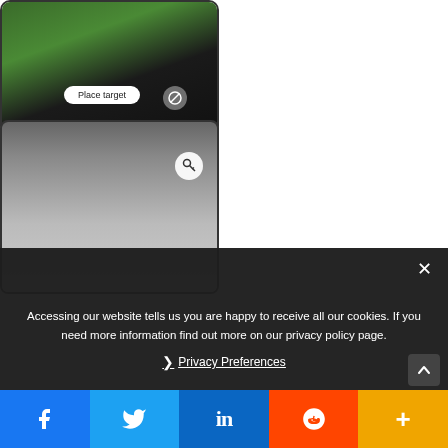[Figure (screenshot): Top portion of a smartphone screen showing a camera/AR view with grass and dark pavement, featuring a 'Place target' button and a circular icon.]
[Figure (screenshot): Bottom portion of a smartphone screen showing a street-level photo with a fence, buildings and pavement, with a circular icon overlay.]
Accessing our website tells us you are happy to receive all our cookies. If you need more information find out more on our privacy policy page.
❯ Privacy Preferences
[Figure (screenshot): Social sharing bar at bottom with Facebook, Twitter, LinkedIn, Reddit, and More buttons.]